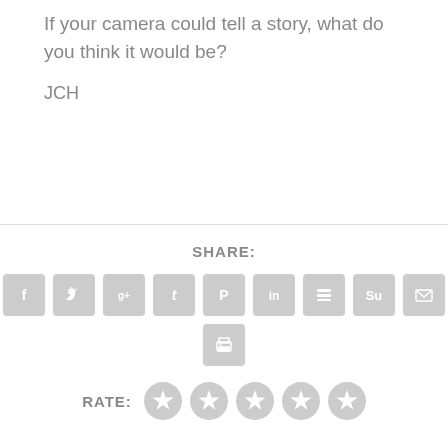If your camera could tell a story, what do you think it would be?
JCH
SHARE:
[Figure (infographic): Row of social share icon buttons: Facebook, Twitter, Google+, Tumblr, Pinterest, LinkedIn, Buffer, StumbleUpon, Email, and a Print button below]
RATE:
[Figure (infographic): Five gray star rating icons]